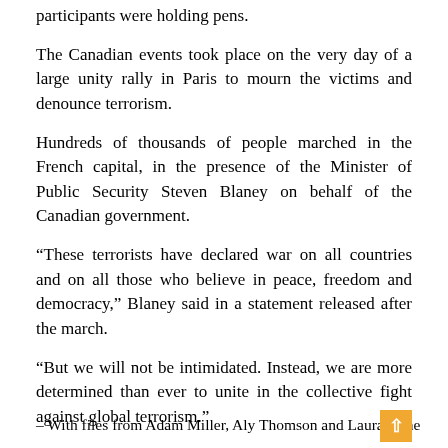participants were holding pens.
The Canadian events took place on the very day of a large unity rally in Paris to mourn the victims and denounce terrorism.
Hundreds of thousands of people marched in the French capital, in the presence of the Minister of Public Security Steven Blaney on behalf of the Canadian government.
“These terrorists have declared war on all countries and on all those who believe in peace, freedom and democracy,” Blaney said in a statement released after the march.
“But we will not be intimidated. Instead, we are more determined than ever to unite in the collective fight against global terrorism.”
British, German, Israeli and Palestinian leaders were also present, prompting the deployment of thousands of additional police officers to bolster security.
– With files from Adam Miller, Aly Thomson and Laura Kane